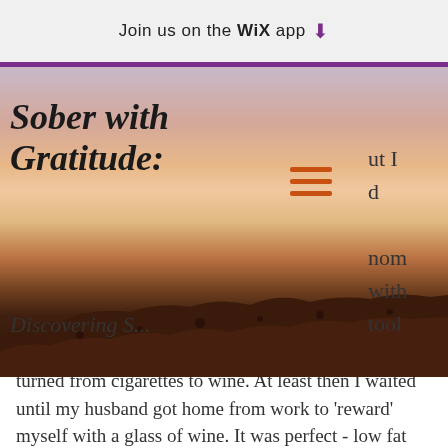Join us on the WiX app
[Figure (photo): Sunset landscape photo with rocky desert terrain and warm pink-orange sky, used as hero image for 'Sober with Gratitude: Discovering S...' blog]
Sober with Gratitude:
Discovering S...
turned from cigarettes to wine. At least then I waited until my husband got home from work to 'reward' myself with a glass of wine. It was perfect - low fat and nicotine free.
That was my story for the last dozens of years. It soothed me, yes, anesthetized me, yes. It usually kept me from overeating - I arranged all of my fitness and eating around the  fact that I was saving my calories for wine.  Except